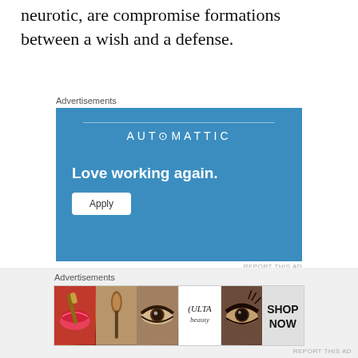neurotic, are compromise formations between a wish and a defense.
Advertisements
[Figure (other): Automattic advertisement banner with blue background. Shows brand name AUTOMATTIC with a thin horizontal line above it, tagline 'Love working again.' in bold white text, and a white Apply button.]
REPORT THIS AD
Advertisements
[Figure (other): Ulta Beauty advertisement strip showing cosmetics imagery: red lips with makeup brush, an eye with makeup brush, Ulta Beauty logo, smoky eye close-up, and SHOP NOW text panel.]
REPORT THIS AD